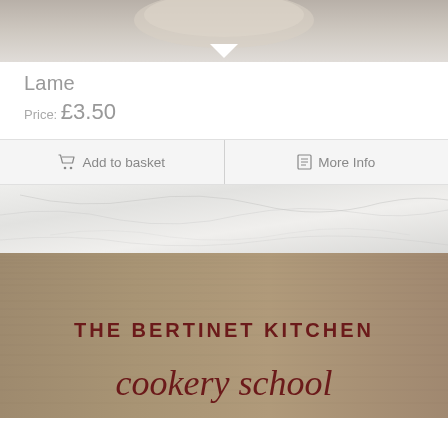[Figure (photo): Top portion of a product photo showing a rounded cream/stone-colored object (lame baking tool) against a neutral background, with a downward pointing chevron at the bottom center]
Lame
Price: £3.50
Add to basket   More Info
[Figure (photo): Photo of a linen/canvas tote bag with marble surface visible at top. The bag reads 'THE BERTINET KITCHEN' in bold serif uppercase letters and 'cookery school' in dark red cursive script below.]